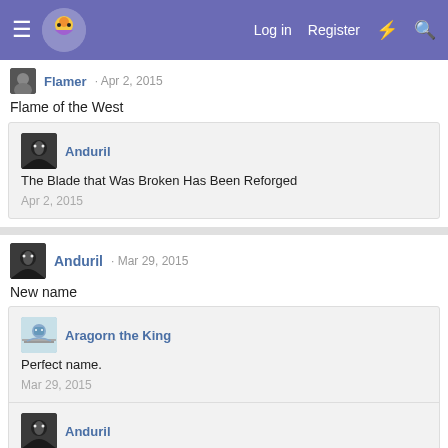Navigation bar with hamburger menu, logo, Log in, Register, lightning, search icons
Flamer · Apr 2, 2015
Flame of the West
Anduril · The Blade that Was Broken Has Been Reforged · Apr 2, 2015
Anduril · Mar 29, 2015
New name
Aragorn the King · Perfect name. · Mar 29, 2015
Anduril · Haha thanks! · Mar 29, 2015